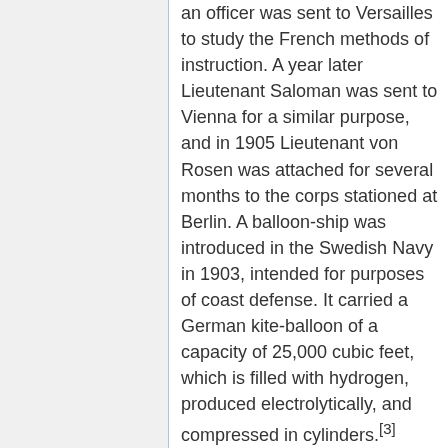an officer was sent to Versailles to study the French methods of instruction. A year later Lieutenant Saloman was sent to Vienna for a similar purpose, and in 1905 Lieutenant von Rosen was attached for several months to the corps stationed at Berlin. A balloon-ship was introduced in the Swedish Navy in 1903, intended for purposes of coast defense. It carried a German kite-balloon of a capacity of 25,000 cubic feet, which is filled with hydrogen, produced electrolytically, and compressed in cylinders.[3]